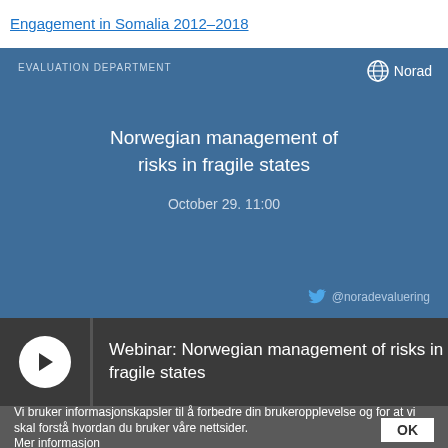Engagement in Somalia 2012–2018
[Figure (screenshot): Norad Evaluation Department webinar slide with blue background. Title: 'Norwegian management of risks in fragile states'. Date: October 29. 11:00. Twitter handle @noradevaluering. Norad logo top right.]
Webinar: Norwegian management of risks in fragile states
Vi bruker informasjonskapsler til å forbedre din brukeropplevelse og for at vi skal forstå hvordan du bruker våre nettsider.
Mer informasjon